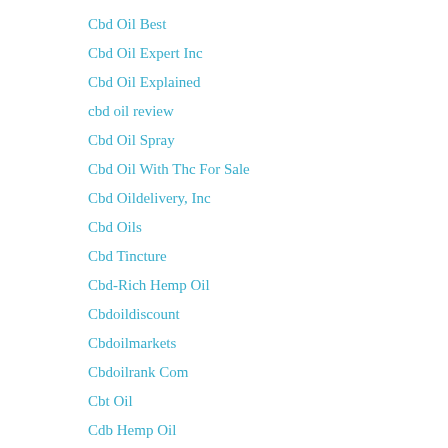Cbd Oil Best
Cbd Oil Expert Inc
Cbd Oil Explained
cbd oil review
Cbd Oil Spray
Cbd Oil With Thc For Sale
Cbd Oildelivery, Inc
Cbd Oils
Cbd Tincture
Cbd-Rich Hemp Oil
Cbdoildiscount
Cbdoilmarkets
Cbdoilrank Com
Cbt Oil
Cdb Hemp Oil